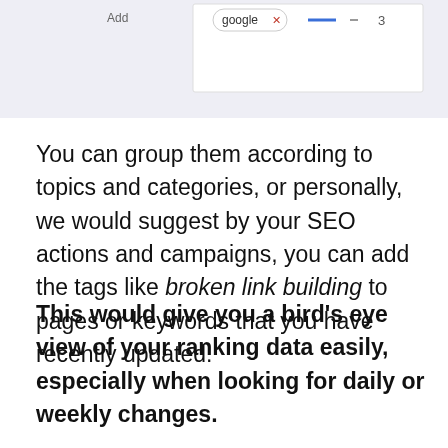[Figure (screenshot): Partial screenshot of a web UI showing an 'Add' label, a tag pill with 'google x', a blue dash line, and the number 3]
You can group them according to topics and categories, or personally, we would suggest by your SEO actions and campaigns, you can add the tags like broken link building to pages or keywords that you have recently updated.
This would give you a bird's eye view of your ranking data easily, especially when looking for daily or weekly changes.